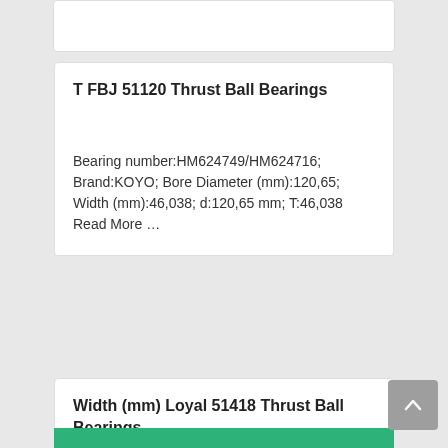T FBJ 51120 Thrust Ball Bearings
Bearing number:HM624749/HM624716; Brand:KOYO; Bore Diameter (mm):120,65; Width (mm):46,038; d:120,65 mm; T:46,038 Read More …
Width (mm) Loyal 51418 Thrust Ball Bearings